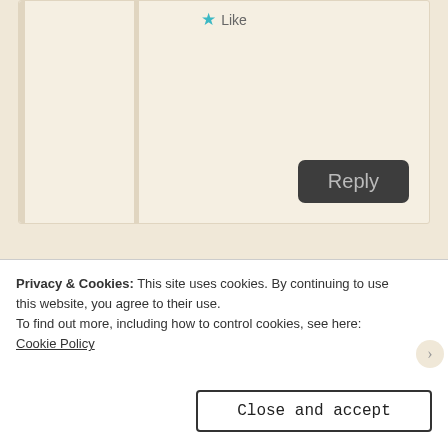[Figure (other): Partial top comment card with Like button and Reply button]
[Figure (illustration): Geometric teal/green avatar icon for user jacipriano]
jacipriano
May 29, 2014 at 9:46 pm
This is the most uplifting thing I've read all day.
Like
Reply
Privacy & Cookies: This site uses cookies. By continuing to use this website, you agree to their use.
To find out more, including how to control cookies, see here: Cookie Policy
Close and accept